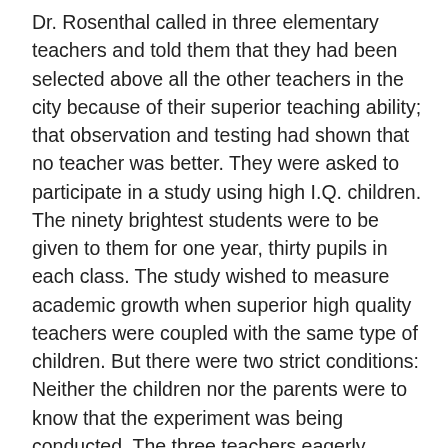Dr. Rosenthal called in three elementary teachers and told them that they had been selected above all the other teachers in the city because of their superior teaching ability; that observation and testing had shown that no teacher was better. They were asked to participate in a study using high I.Q. children. The ninety brightest students were to be given to them for one year, thirty pupils in each class. The study wished to measure academic growth when superior high quality teachers were coupled with the same type of children. But there were two strict conditions: Neither the children nor the parents were to know that the experiment was being conducted. The three teachers eagerly agreed – it was the chance of a lifetime.
Well, needless to say, the student's progress was phenomenal. The three classes completed the school year with the highest scores in the city over 90%.